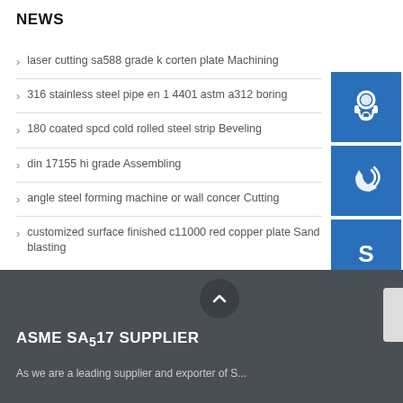NEWS
laser cutting sa588 grade k corten plate Machining
316 stainless steel pipe en 1 4401 astm a312 boring
180 coated spcd cold rolled steel strip Beveling
din 17155 hi grade Assembling
angle steel forming machine or wall concer Cutting
customized surface finished c11000 red copper plate Sand blasting
[Figure (illustration): Blue square icon with white headset/customer service symbol]
[Figure (illustration): Blue square icon with white phone/call symbol]
[Figure (illustration): Blue square icon with white Skype logo symbol]
ASME SA517 SUPPLIER
As we are a leading supplier and exporter of S...